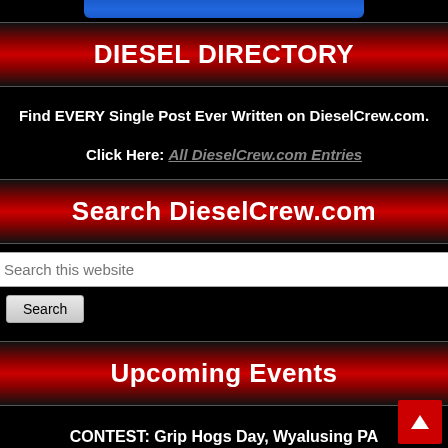DIESEL DIRECTORY
Find EVERY Single Post Ever Written on DieselCrew.com.
Click Here: All DieselCrew.com Entries
Search DieselCrew.com
Search this website
Search
Upcoming Events
CONTEST: Grip Hogs Day, Wyalusing PA
Click Here
Motivation & Muscle Podcast